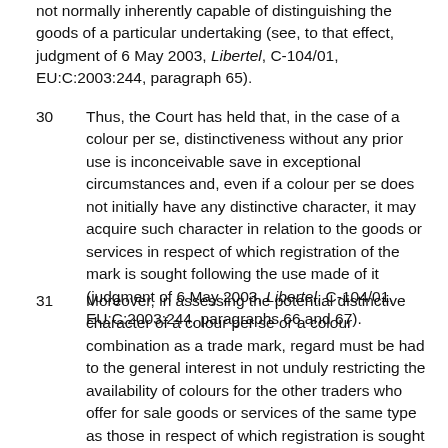not normally inherently capable of distinguishing the goods of a particular undertaking (see, to that effect, judgment of 6 May 2003, Libertel, C-104/01, EU:C:2003:244, paragraph 65).
30   Thus, the Court has held that, in the case of a colour per se, distinctiveness without any prior use is inconceivable save in exceptional circumstances and, even if a colour per se does not initially have any distinctive character, it may acquire such character in relation to the goods or services in respect of which registration of the mark is sought following the use made of it (judgment of 6 May 2003, Libertel, C-104/01, EU:C:2003:244, paragraphs 66 and 67).
31   Moreover, in assessing the potential distinctive character of a colour per se or a colour combination as a trade mark, regard must be had to the general interest in not unduly restricting the availability of colours for the other traders who offer for sale goods or services of the same type as those in respect of which registration is sought (judgments of 6 May 2003, Libertel, C-104/01,